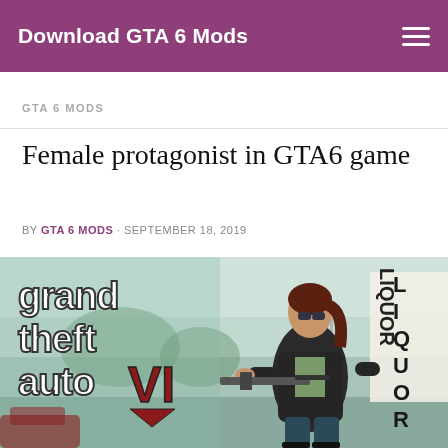Download GTA 6 Mods
GTA 6 MODS
Female protagonist in GTA6 game
BY GTA 6 MODS · SEPTEMBER 18, 2019
[Figure (illustration): Grand Theft Auto VI artwork showing a female protagonist in a leather jacket holding an assault rifle, with the GTA VI logo on the left side and a liquor store sign in the background.]